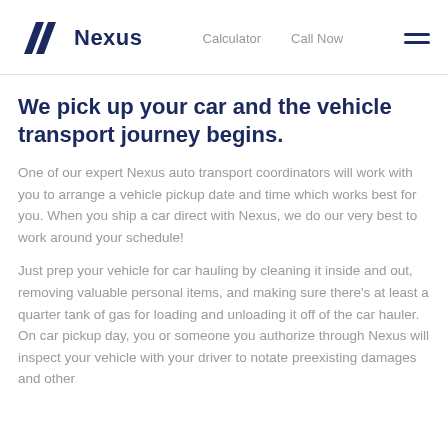Nexus | Calculator | Call Now
We pick up your car and the vehicle transport journey begins.
One of our expert Nexus auto transport coordinators will work with you to arrange a vehicle pickup date and time which works best for you. When you ship a car direct with Nexus, we do our very best to work around your schedule!
Just prep your vehicle for car hauling by cleaning it inside and out, removing valuable personal items, and making sure there's at least a quarter tank of gas for loading and unloading it off of the car hauler. On car pickup day, you or someone you authorize through Nexus will inspect your vehicle with your driver to notate preexisting damages and other